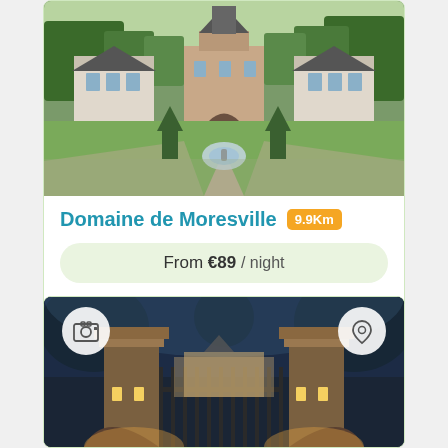[Figure (photo): Aerial view of Domaine de Moresville chateau with formal garden, fountain, and surrounding trees]
Domaine de Moresville 9.9Km
From €89 / night
Book Now
Contact
[Figure (photo): Night view of chateau gate entrance illuminated, stone pillars with arched gateway]